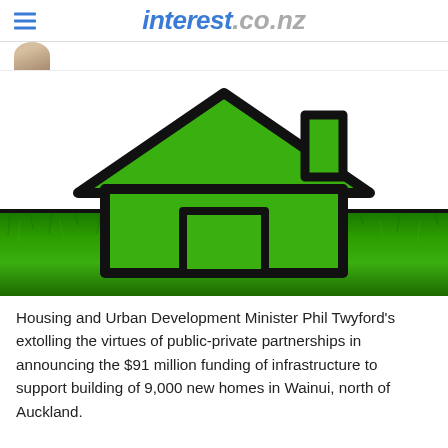interest.co.nz
[Figure (illustration): A house icon with green grass fill and thick black outline, sitting above a photorealistic green grass lawn background.]
Housing and Urban Development Minister Phil Twyford's extolling the virtues of public-private partnerships in announcing the $91 million funding of infrastructure to support building of 9,000 new homes in Wainui, north of Auckland.